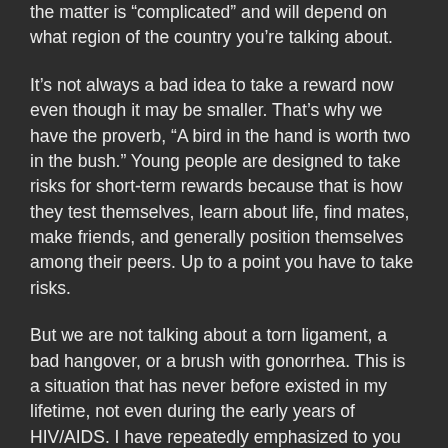the matter is "complicated" and will depend on what region of the country you're talking about.
It's not always a bad idea to take a reward now even though it may be smaller. That's why we have the proverb, "A bird in the hand is worth two in the bush." Young people are designed to take risks for short-term rewards because that is how they test themselves, learn about life, find mates, make friends, and generally position themselves among their peers. Up to a point you have to take risks.
But we are not talking about a torn ligament, a bad hangover, or a brush with gonorrhea. This is a situation that has never before existed in my lifetime, not even during the early years of HIV/AIDS. I have repeatedly emphasized to you